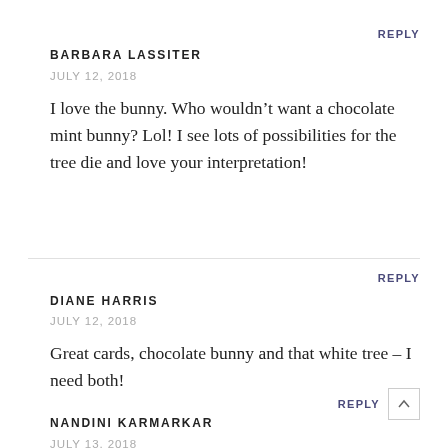REPLY
BARBARA LASSITER
JULY 12, 2018
I love the bunny. Who wouldn't want a chocolate mint bunny? Lol! I see lots of possibilities for the tree die and love your interpretation!
REPLY
DIANE HARRIS
JULY 12, 2018
Great cards, chocolate bunny and that white tree – I need both!
REPLY
NANDINI KARMARKAR
JULY 13, 2018